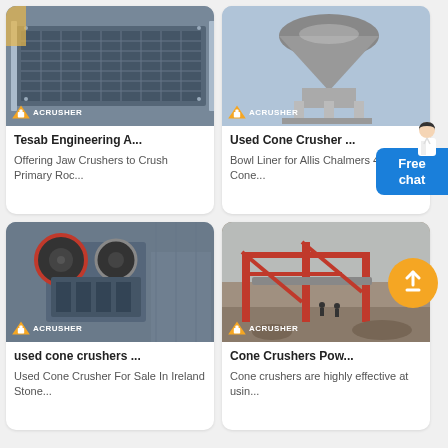[Figure (photo): Industrial vibrating screen machine with metal mesh, ACRUSHER logo]
Tesab Engineering A...
Offering Jaw Crushers to Crush Primary Roc...
[Figure (photo): Cone crusher machine in factory setting, ACRUSHER logo]
Used Cone Crusher ...
Bowl Liner for Allis Chalmers 45" Cone...
[Figure (photo): Jaw crusher machine in industrial facility, ACRUSHER logo]
used cone crushers ...
Used Cone Crusher For Sale In Ireland Stone...
[Figure (photo): Outdoor industrial crushing plant with red frame structure, ACRUSHER logo]
Cone Crushers Pow...
Cone crushers are highly effective at usin...